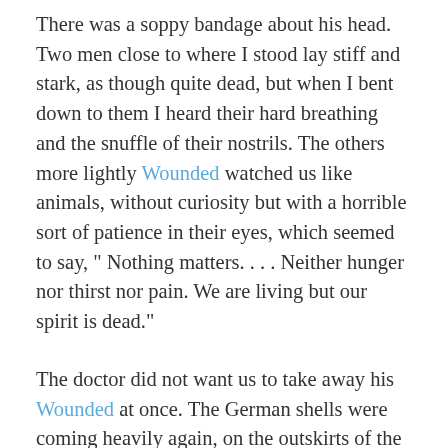There was a soppy bandage about his head. Two men close to where I stood lay stiff and stark, as though quite dead, but when I bent down to them I heard their hard breathing and the snuffle of their nostrils. The others more lightly Wounded watched us like animals, without curiosity but with a horrible sort of patience in their eyes, which seemed to say, " Nothing matters. . . . Neither hunger nor thirst nor pain. We are living but our spirit is dead."
The doctor did not want us to take away his Wounded at once. The German shells were coming heavily again, on the outskirts of the Town through which we had to pass on our' way out. An officer had just come in to say they were firing at the level crossing to prevent the Belgian ambulances from